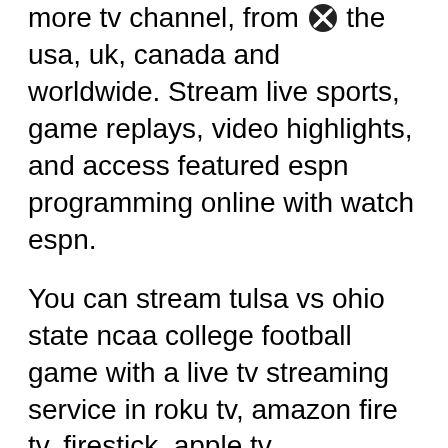more tv channel, from the usa, uk, canada and worldwide. Stream live sports, game replays, video highlights, and access featured espn programming online with watch espn.
You can stream tulsa vs ohio state ncaa college football game with a live tv streaming service in roku tv, amazon fire tv, firestick, apple tv, chromecast, xbox one, samsung smart tv, android tv, iphone, android. Ohio state football live on any device as desktop, laptop, scratch pad, tab, propelled cell phone, mobile, iphone, ipad, ipod, apple, roku and all others. Time, tv info, how to watch, odds.
Espn with megacast (Xpn2, espnu,